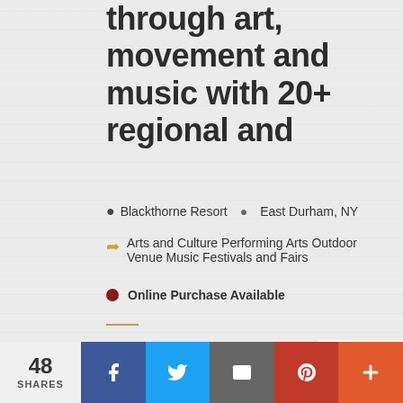through art, movement and music with 20+ regional and
Blackthorne Resort   East Durham, NY
Arts and Culture Performing Arts Outdoor Venue Music Festivals and Fairs
Online Purchase Available
VIEW DETAILS
48 SHARES